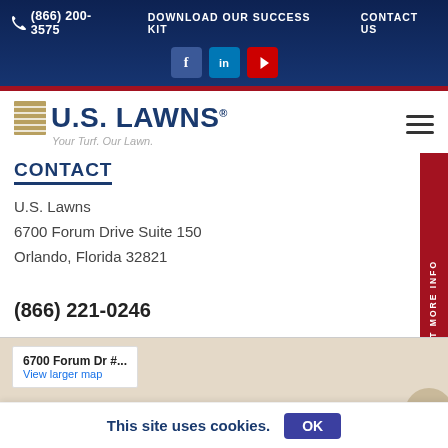(866) 200-3575  DOWNLOAD OUR SUCCESS KIT  CONTACT US
[Figure (logo): U.S. Lawns logo with tagline 'Your Turf. Our Lawn.']
CONTACT
U.S. Lawns
6700 Forum Drive Suite 150
Orlando, Florida 32821

(866) 221-0246
[Figure (map): Google Maps embed showing 6700 Forum Dr #... with View larger map link]
This site uses cookies.